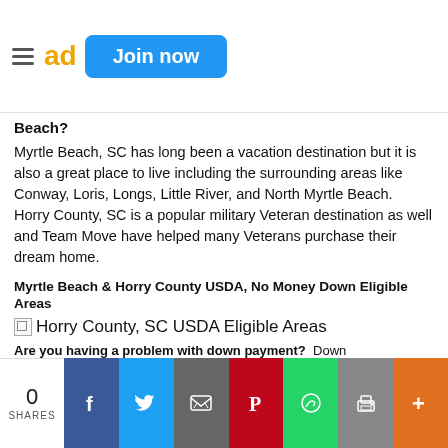ad Join now
Beach?
Myrtle Beach, SC has long been a vacation destination but it is also a great place to live including the surrounding areas like Conway, Loris, Longs, Little River, and North Myrtle Beach.  Horry County, SC is a popular military Veteran destination as well and Team Move have helped many Veterans purchase their dream home.
Myrtle Beach & Horry County USDA, No Money Down Eligible Areas
[Figure (illustration): Broken image placeholder for Horry County, SC USDA Eligible Areas map]
Horry County, SC USDA Eligible Areas
Are you having a problem with down payment?  Down
0 SHARES | Facebook | Twitter | Email | Pinterest | WhatsApp | Print | +